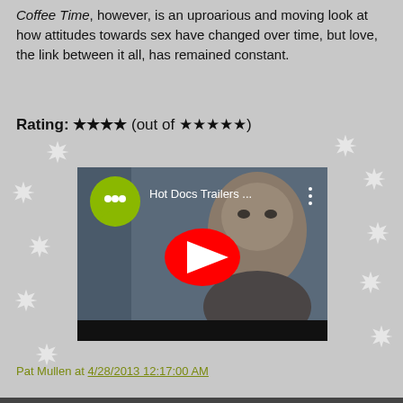Coffee Time, however, is an uproarious and moving look at how attitudes towards sex have changed over time, but love, the link between it all, has remained constant.
Rating: ★★★★ (out of ★★★★★)
[Figure (screenshot): Embedded YouTube video player showing 'Hot Docs Trailers ...' with a man's face visible and a YouTube play button overlay. A green chat bubble icon is shown in the top left of the video.]
Pat Mullen at 4/28/2013 12:17:00 AM